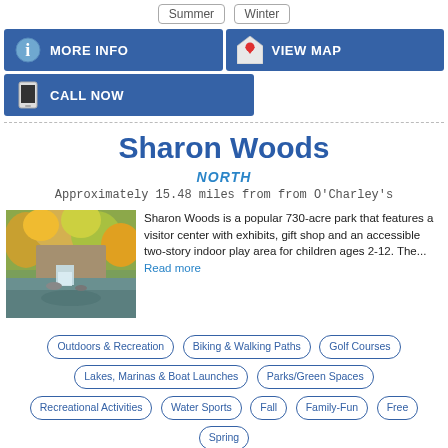Summer  Winter
MORE INFO
VIEW MAP
CALL NOW
Sharon Woods
NORTH
Approximately 15.48 miles from from O'Charley's
[Figure (photo): Photo of Sharon Woods waterfall and autumn foliage reflecting in water]
Sharon Woods is a popular 730-acre park that features a visitor center with exhibits, gift shop and an accessible two-story indoor play area for children ages 2-12. The... Read more
Outdoors & Recreation
Biking & Walking Paths
Golf Courses
Lakes, Marinas & Boat Launches
Parks/Green Spaces
Recreational Activities
Water Sports
Fall
Family-Fun
Free
Spring